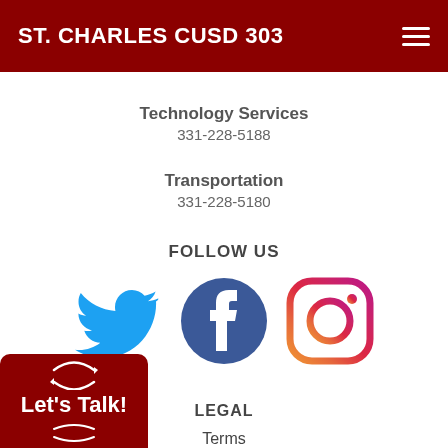ST. CHARLES CUSD 303
Technology Services
331-228-5188
Transportation
331-228-5180
FOLLOW US
[Figure (illustration): Social media icons: Twitter (blue bird), Facebook (blue circle with f), Instagram (gradient circle with camera outline)]
LEGAL
Terms
Privacy
[Figure (illustration): Let's Talk! button with circular arrows icon, dark red background]